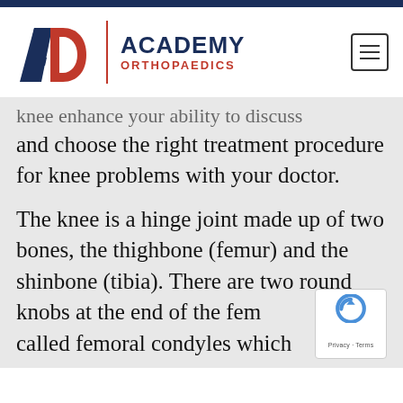[Figure (logo): Academy Orthopaedics logo with blue 'A' and red 'O' letters, vertical red dividing line, and text 'ACADEMY ORTHOPAEDICS' in navy/red]
knee enhance your ability to discuss and choose the right treatment procedure for knee problems with your doctor.
The knee is a hinge joint made up of two bones, the thighbone (femur) and the shinbone (tibia). There are two round knobs at the end of the femur called femoral condyles which